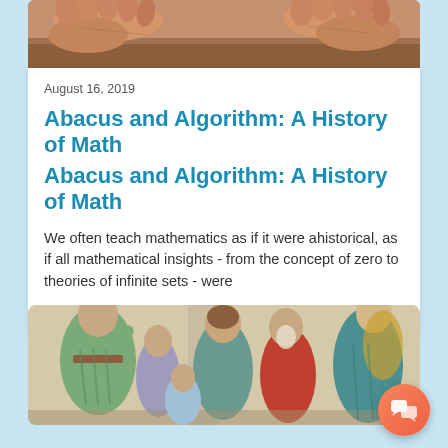[Figure (photo): Close-up photo of elderly hands, likely counting or demonstrating on a wooden surface]
August 16, 2019
Abacus and Algorithm: A History of Math
Abacus and Algorithm: A History of Math
We often teach mathematics as if it were ahistorical, as if all mathematical insights - from the concept of zero to theories of infinite sets - were
Classical Math
[Figure (photo): Detail from Raphael's School of Athens fresco showing classical figures in robes engaged in discussion and study]